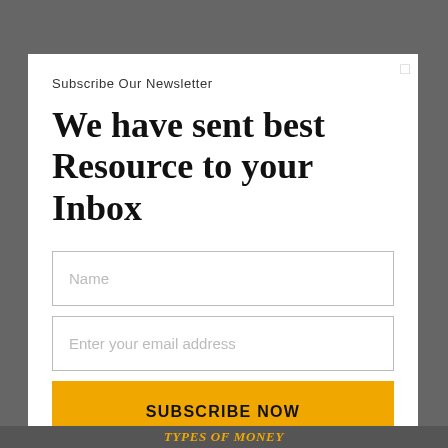Subscribe Our Newsletter
We have sent best Resource to your Inbox
Name
Enter your email address
SUBSCRIBE NOW